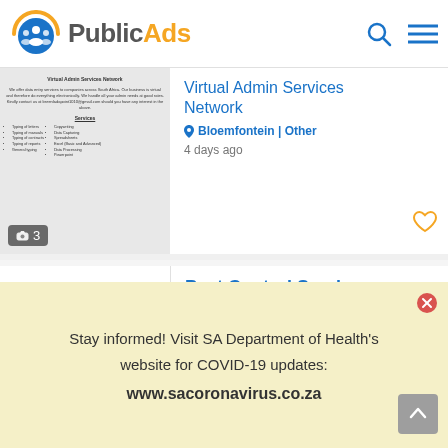PublicAds
[Figure (screenshot): Virtual Admin Services Network listing card with admin services image thumbnail showing photo badge '3', title in blue, location 'Bloemfontein | Other', and '4 days ago']
[Figure (screenshot): Pest Control Services listing card with placeholder logo, title in blue 'Pest Control Services', location 'Bloemfontein | Pest Control', and '4 days ago']
Stay informed! Visit SA Department of Health's website for COVID-19 updates:
www.sacoronavirus.co.za